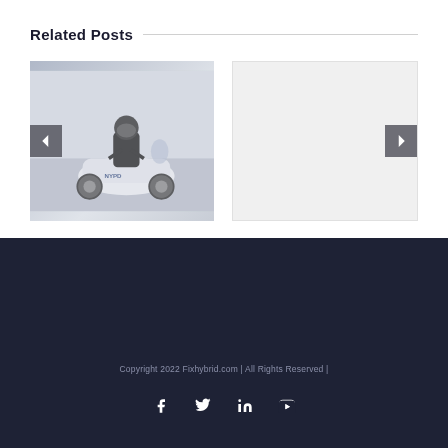Related Posts
[Figure (photo): A police officer riding a white scooter/motorcycle on a city street, wearing a black helmet and uniform. Navigation arrows on left and right sides of the carousel.]
[Figure (other): Blank/empty carousel slide placeholder with light gray background and a right navigation arrow.]
Copyright 2022 Fixhybrid.com | All Rights Reserved |